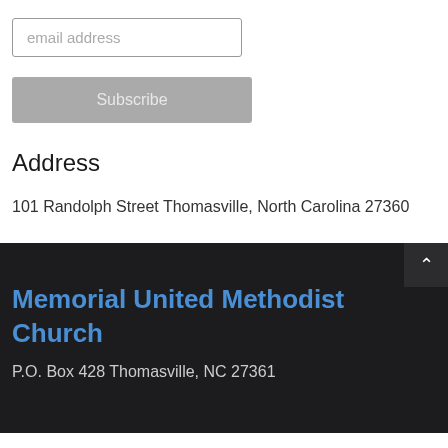[Figure (screenshot): Email address input field with placeholder text 'email address']
[Figure (screenshot): Gray Subscribe button]
Address
101 Randolph Street Thomasville, North Carolina 27360
Memorial United Methodist Church
P.O. Box 428 Thomasville, NC 27361